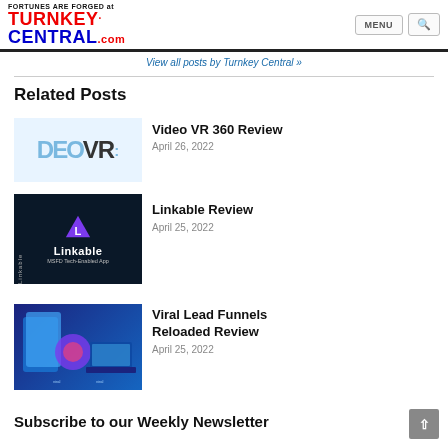FORTUNES ARE FORGED at TURNKEY CENTRAL .com — MENU [search]
View all posts by Turnkey Central »
Related Posts
[Figure (logo): DEO VR logo in light blue text]
Video VR 360 Review
April 26, 2022
[Figure (screenshot): Linkable app promotional image with dark background, purple L icon, and text MSFD Tech-Enabled App]
Linkable Review
April 25, 2022
[Figure (photo): Viral Lead Funnels Reloaded product box and device mockup images with blue gradient background]
Viral Lead Funnels Reloaded Review
April 25, 2022
Subscribe to our Weekly Newsletter